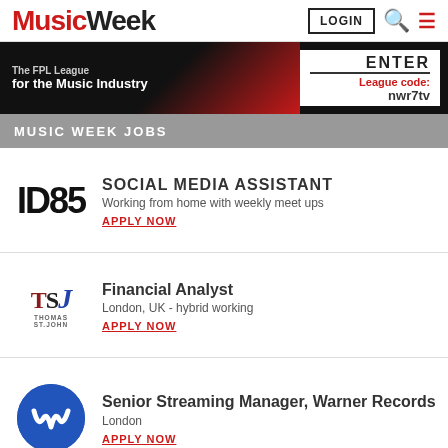Music Week
[Figure (screenshot): Advertisement banner: The FPL League for the Music Industry. League code: nwr7tv]
MUSIC WEEK JOBS
[Figure (logo): ID85 logo in bold black text]
SOCIAL MEDIA ASSISTANT
Working from home with weekly meet ups
APPLY NOW
[Figure (logo): TSJ Thomas St John logo]
Financial Analyst
London, UK - hybrid working
APPLY NOW
[Figure (logo): Warner Records circular logo in blue]
Senior Streaming Manager, Warner Records
London
APPLY NOW